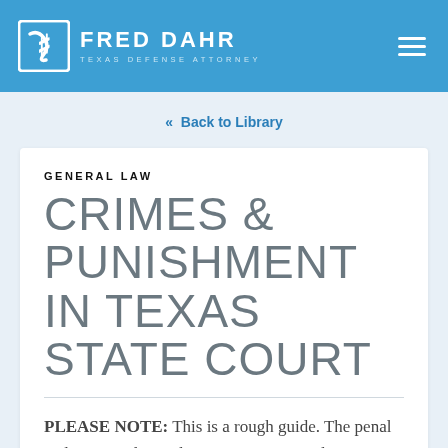FRED DAHR — TEXAS DEFENSE ATTORNEY
« Back to Library
GENERAL LAW
CRIMES & PUNISHMENT IN TEXAS STATE COURT
PLEASE NOTE: This is a rough guide. The penal code is complex and many variations and exceptions exist in classifying criminal behavior.